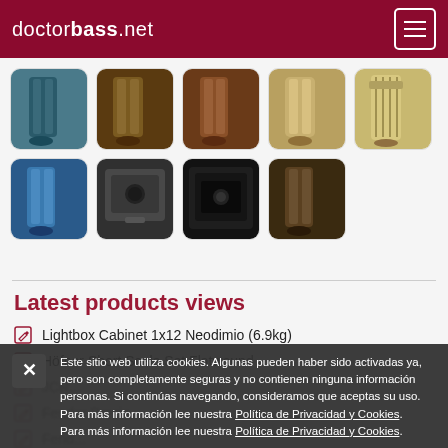doctorbass.net
[Figure (photo): Gallery row 1: 5 bass guitar product thumbnails]
[Figure (photo): Gallery row 2: 4 bass guitar/amplifier product thumbnails]
Latest products views
Lightbox Cabinet 1x12 Neodimio (6.9kg)
Höfner Short Scale Set Flatwound
JCR...
Fender Precis...
Fend...
Este sitio web utiliza cookies. Algunas pueden haber sido activadas ya, pero son completamente seguras y no contienen ninguna información personas. Si continúas navegando, consideramos que aceptas su uso. Para más información lee nuestra Política de Privacidad y Cookies. Para más información lee nuestra Política de Privacidad y Cookies.